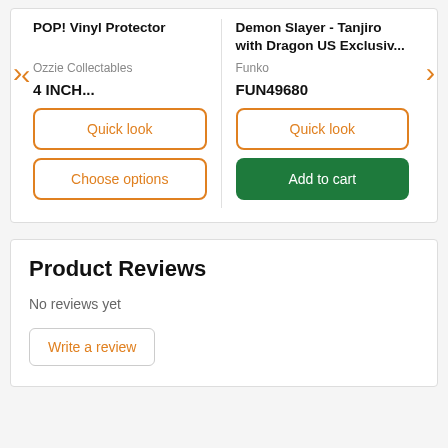POP! Vinyl Protector
Ozzie Collectables
4 INCH...
Quick look
Choose options
Demon Slayer - Tanjiro with Dragon US Exclusiv...
Funko
FUN49680
Quick look
Add to cart
Product Reviews
No reviews yet
Write a review